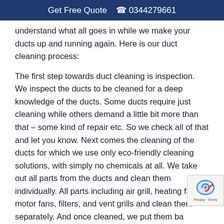Get Free Quote  📞 0344279661
understand what all goes in while we make your ducts up and running again. Here is our duct cleaning process:
The first step towards duct cleaning is inspection. We inspect the ducts to be cleaned for a deep knowledge of the ducts. Some ducts require just cleaning while others demand a little bit more than that – some kind of repair etc. So we check all of that and let you know. Next comes the cleaning of the ducts for which we use only eco-friendly cleaning solutions, with simply no chemicals at all. We take out all parts from the ducts and clean them individually. All parts including air grill, heating fan, motor fans, filters, and vent grills and clean them separately. And once cleaned, we put them ba... Once cleaning is done, we get down sanitising your domestic and commercial ducts. Sanitising the ducts